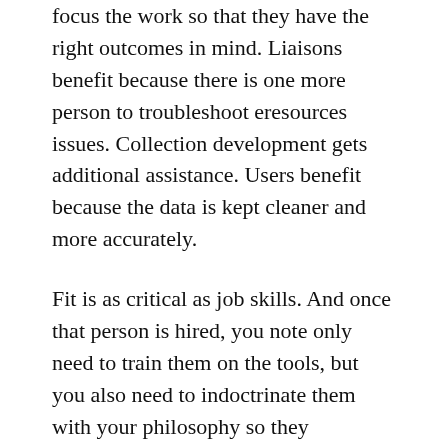focus the work so that they have the right outcomes in mind. Liaisons benefit because there is one more person to troubleshoot eresources issues. Collection development gets additional assistance. Users benefit because the data is kept cleaner and more accurately.
Fit is as critical as job skills. And once that person is hired, you note only need to train them on the tools, but you also need to indoctrinate them with your philosophy so they understand why things are the way they are.
Tools & strategies: online tutorials and webinars — use the stuff that's out there already. Talk to other library staff in order to